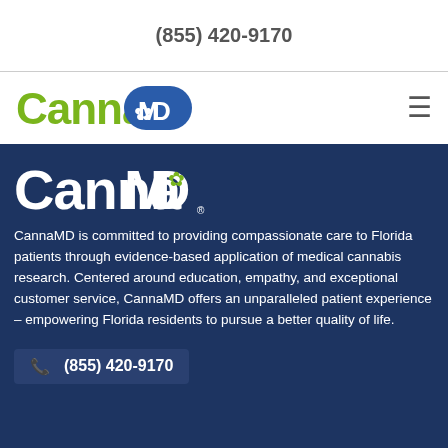(855) 420-9170
[Figure (logo): CannaMD logo with green Canna text and blue MD with cannabis leaf icon - navigation bar version]
[Figure (logo): CannaMD logo white version on dark blue background]
CannaMD is committed to providing compassionate care to Florida patients through evidence-based application of medical cannabis research. Centered around education, empathy, and exceptional customer service, CannaMD offers an unparalleled patient experience – empowering Florida residents to pursue a better quality of life.
(855) 420-9170